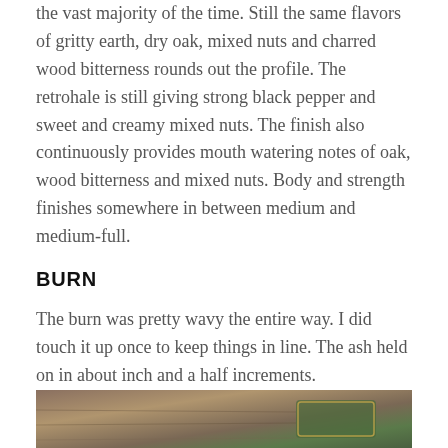the vast majority of the time. Still the same flavors of gritty earth, dry oak, mixed nuts and charred wood bitterness rounds out the profile. The retrohale is still giving strong black pepper and sweet and creamy mixed nuts. The finish also continuously provides mouth watering notes of oak, wood bitterness and mixed nuts. Body and strength finishes somewhere in between medium and medium-full.
BURN
The burn was pretty wavy the entire way. I did touch it up once to keep things in line. The ash held on in about inch and a half increments.
[Figure (photo): Close-up photo of a cigar with a decorative band resting among tobacco leaves or similar natural material]